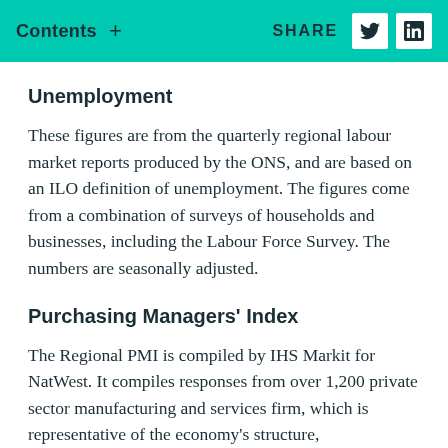Contents + SHARE
Unemployment
These figures are from the quarterly regional labour market reports produced by the ONS, and are based on an ILO definition of unemployment. The figures come from a combination of surveys of households and businesses, including the Labour Force Survey. The numbers are seasonally adjusted.
Purchasing Managers’ Index
The Regional PMI is compiled by IHS Markit for NatWest. It compiles responses from over 1,200 private sector manufacturing and services firm, which is representative of the economy’s structure,